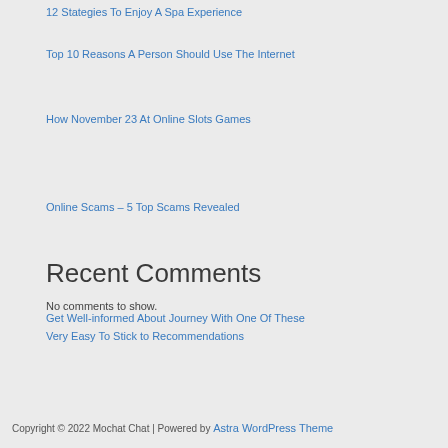12 Stategies To Enjoy A Spa Experience
Top 10 Reasons A Person Should Use The Internet
How November 23 At Online Slots Games
Online Scams – 5 Top Scams Revealed
Get Well-informed About Journey With One Of These Very Easy To Stick to Recommendations
Recent Comments
No comments to show.
Copyright © 2022 Mochat Chat | Powered by Astra WordPress Theme